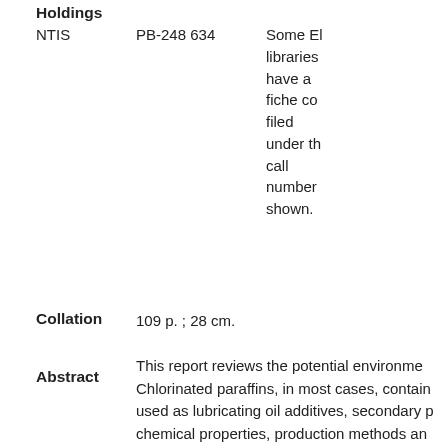Holdings
|  |  |  |
| --- | --- | --- |
|  |  | Some El libraries have a fiche co filed under th call number shown. |
| NTIS | PB-248 634 |  |
Collation   109 p. ; 28 cm.
Abstract
This report reviews the potential environme Chlorinated paraffins, in most cases, contain used as lubricating oil additives, secondary p chemical properties, production methods an contamination, as well as information relate